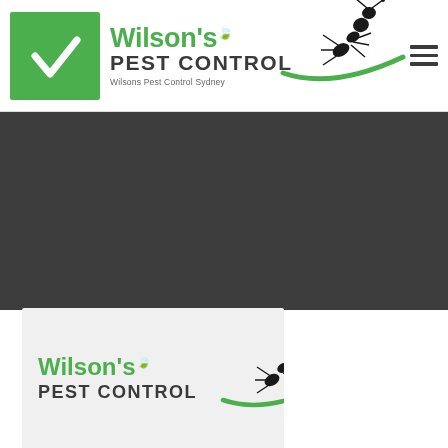[Figure (logo): Wilson's Pest Control logo in the page header: green checkbox square on left, green 'Wilson's' text with leaf accent, dark grey 'PEST CONTROL' bold text, ant silhouette graphic with green swoosh, tagline 'Wilsons Pest Control Sydney']
[Figure (logo): Wilson's Pest Control logo repeated in a light card at bottom: green 'Wilson's' text with leaf, dark grey 'PEST CONTROL' bold text, ant silhouette with green swoosh]
[Figure (screenshot): Dark grey background section occupying the middle portion of the page, likely a banner/hero area of the Wilson's Pest Control website]